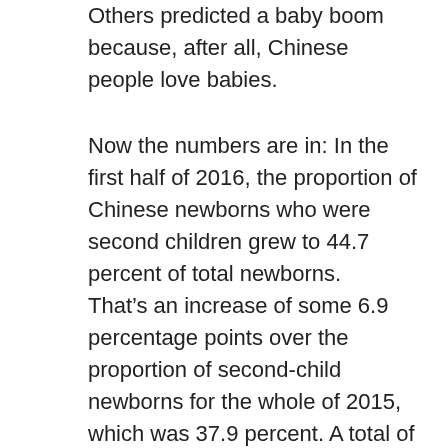Others predicted a baby boom because, after all, Chinese people love babies.
Now the numbers are in: In the first half of 2016, the proportion of Chinese newborns who were second children grew to 44.7 percent of total newborns.
That’s an increase of some 6.9 percentage points over the proportion of second-child newborns for the whole of 2015, which was 37.9 percent. A total of 8.31 million newborns were registered nationwide this year by the end of June, according to the National Health and Family Planning Commission.
Some regions, mostly large cities, are beginning